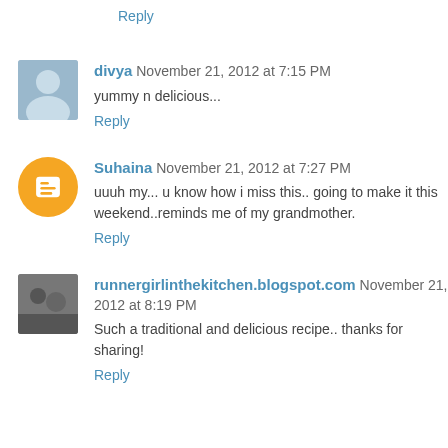Reply
divya  November 21, 2012 at 7:15 PM
yummy n delicious...
Reply
Suhaina  November 21, 2012 at 7:27 PM
uuuh my... u know how i miss this.. going to make it this weekend..reminds me of my grandmother.
Reply
runnergirlinthekitchen.blogspot.com  November 21, 2012 at 8:19 PM
Such a traditional and delicious recipe.. thanks for sharing!
Reply